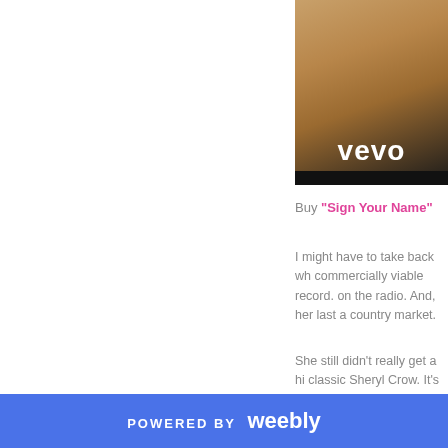[Figure (photo): Vevo music video thumbnail showing blonde hair with vevo logo watermark]
Buy "Sign Your Name"
I might have to take back wh commercially viable record. on the radio. And, her last a country market.
She still didn't really get a hi classic Sheryl Crow. It's per was a radio worthy single, S country market (remember "
POWERED BY weebly